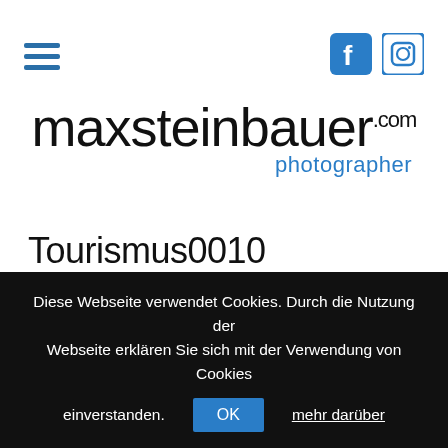[Figure (logo): maxsteinbauer.com photographer logo with hamburger menu and social icons (Facebook, Instagram)]
Tourismus0010
Von MAxSTein | 13. Mai 2021 | 0
[Figure (photo): Partial photo strip showing warm golden/brown tones, top of a landscape photo]
Diese Webseite verwendet Cookies. Durch die Nutzung der Webseite erklären Sie sich mit der Verwendung von Cookies einverstanden. OK mehr darüber